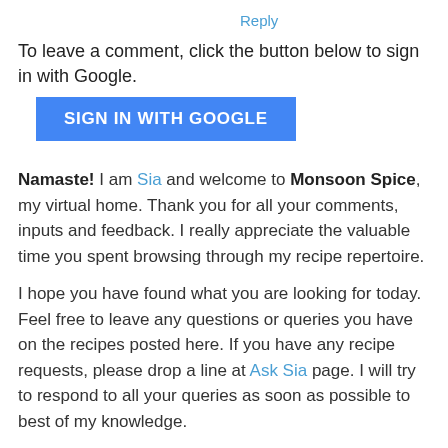Reply
To leave a comment, click the button below to sign in with Google.
SIGN IN WITH GOOGLE
Namaste! I am Sia and welcome to Monsoon Spice, my virtual home. Thank you for all your comments, inputs and feedback. I really appreciate the valuable time you spent browsing through my recipe repertoire.
I hope you have found what you are looking for today. Feel free to leave any questions or queries you have on the recipes posted here. If you have any recipe requests, please drop a line at Ask Sia page. I will try to respond to all your queries as soon as possible to best of my knowledge.
I welcome all your valuable inputs and constructive criticism as long as it is meant to help